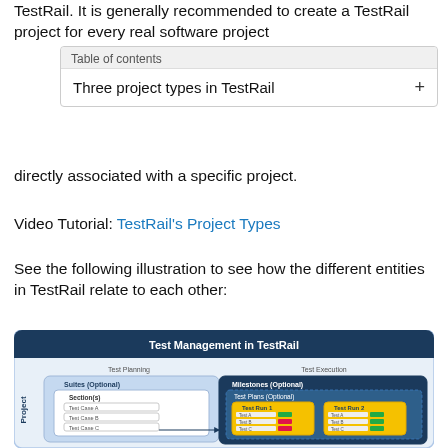TestRail. It is generally recommended to create a TestRail project for every real software project
Table of contents
Three project types in TestRail +
directly associated with a specific project.
Video Tutorial: TestRail's Project Types
See the following illustration to see how the different entities in TestRail relate to each other:
[Figure (infographic): Diagram titled 'Test Management in TestRail' showing Project structure with Test Planning (Suites Optional > Sections > Test Cases A, B, C) and Test Execution (Milestones Optional > Test Plans Optional > Test Run 1 and Test Run 2 with Test A, Test B, Test C entries with green/red status bars).]